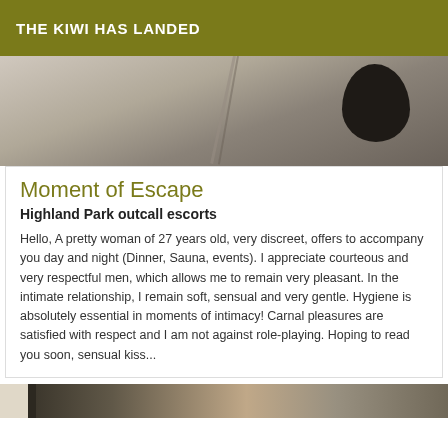THE KIWI HAS LANDED
[Figure (photo): Partial photo showing floor/ground area with a dark object visible at top right]
Moment of Escape
Highland Park outcall escorts
Hello, A pretty woman of 27 years old, very discreet, offers to accompany you day and night (Dinner, Sauna, events). I appreciate courteous and very respectful men, which allows me to remain very pleasant. In the intimate relationship, I remain soft, sensual and very gentle. Hygiene is absolutely essential in moments of intimacy! Carnal pleasures are satisfied with respect and I am not against role-playing. Hoping to read you soon, sensual kiss...
[Figure (photo): Partial photo at bottom of page, partially cropped]